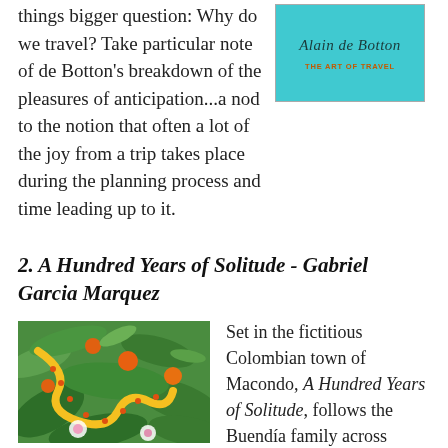things bigger question: Why do we travel? Take particular note of de Botton's breakdown of the pleasures of anticipation...a nod to the notion that often a lot of the joy from a trip takes place during the planning process and time leading up to it.
[Figure (illustration): Book cover of 'The Art of Travel' by Alain de Botton with teal/turquoise background and cursive script title and author name]
2. A Hundred Years of Solitude - Gabriel Garcia Marquez
[Figure (illustration): Colorful jungle-themed book cover illustration with a snake, tropical plants, flowers in greens, oranges, and pinks]
Set in the fictitious Colombian town of Macondo, A Hundred Years of Solitude, follows the Buendía family across multiple